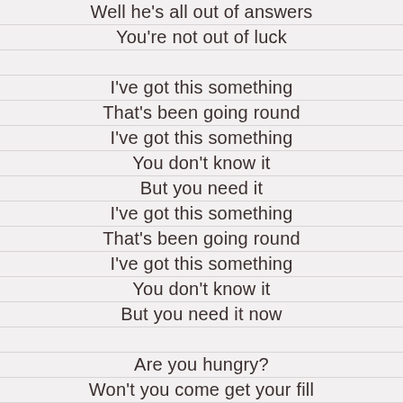Well he's all out of answers
You're not out of luck
I've got this something
That's been going round
I've got this something
You don't know it
But you need it
I've got this something
That's been going round
I've got this something
You don't know it
But you need it now
Are you hungry?
Won't you come get your fill